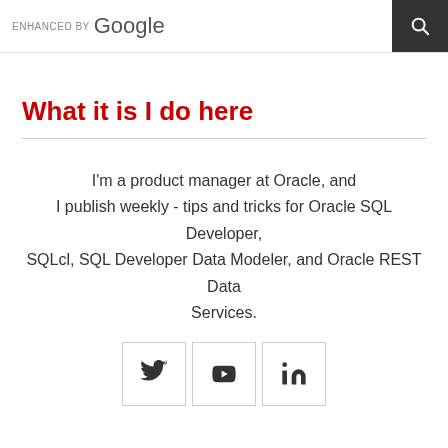ENHANCED BY Google [search bar]
What it is I do here
I'm a product manager at Oracle, and I publish weekly - tips and tricks for Oracle SQL Developer, SQLcl, SQL Developer Data Modeler, and Oracle REST Data Services.
[Figure (illustration): Three social media icon buttons: Twitter (bird icon), YouTube (play button icon), LinkedIn (in icon), each in a bordered square box]